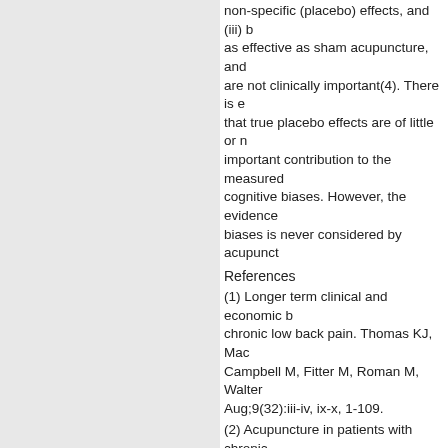non-specific (placebo) effects, and (iii) b as effective as sham acupuncture, and are not clinically important(4). There is e that true placebo effects are of little or n important contribution to the measured cognitive biases. However, the evidence biases is never considered by acupunct
References
(1) Longer term clinical and economic b chronic low back pain. Thomas KJ, Mac Campbell M, Fitter M, Roman M, Walter Aug;9(32):iii-iv, ix-x, 1-109.
(2) Acupuncture in patients with chronic Brinkhaus B, Witt CM, Jena S, Linde K, Melchart D, Willich SN. Arch Intern Med
(3) German Acupuncture Trials (GERAC multicenter, blinded, parallel-group trial Brittinger C, Basler HD, Schäfer H, Maie Intern Med. 2007 Sep 24;167(17):1892- 22;167(19):2072.
(4) Acupuncture treatment for pain: syst acupuncture, placebo acupuncture, and PC, Hróbjartsson A. BMJ. 2009 Jan 27;
(5) Is the placebo powerless? Update o comparing placebo with no treatment. H Aug;256(2):91-100
★  Like
Reply